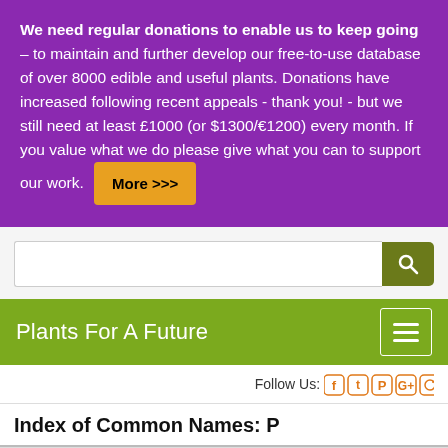We need regular donations to enable us to keep going – to maintain and further develop our free-to-use database of over 8000 edible and useful plants. Donations have increased following recent appeals - thank you! - but we still need at least £1000 (or $1300/€1200) every month. If you value what we do please give what you can to support our work. More >>>
[Figure (screenshot): Search bar with green search button]
Plants For A Future
Follow Us:
Index of Common Names: P
1.1k Shares